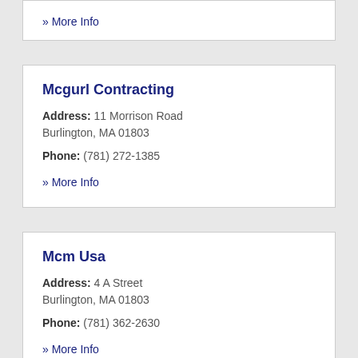» More Info
Mcgurl Contracting
Address: 11 Morrison Road Burlington, MA 01803
Phone: (781) 272-1385
» More Info
Mcm Usa
Address: 4 A Street Burlington, MA 01803
Phone: (781) 362-2630
» More Info